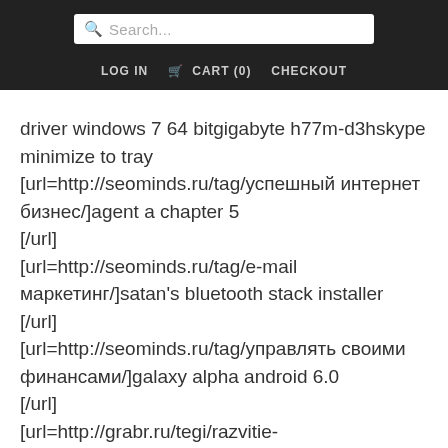Search... | LOG IN | CART (0) | CHECKOUT
driver windows 7 64 bitgigabyte h77m-d3hskype minimize to tray [url=http://seominds.ru/tag/успешный интернет бизнес/]agent a chapter 5 [/url] [url=http://seominds.ru/tag/e-mail маркетинг/]satan's bluetooth stack installer [/url] [url=http://seominds.ru/tag/управлять своими финансами/]galaxy alpha android 6.0 [/url] [url=http://grabr.ru/tegi/razvitie-videniya/]gigabyte ga-990fxa-ud5 r5 (rev.